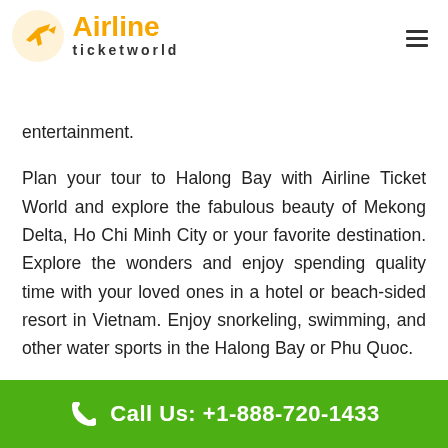[Figure (logo): Airline Ticket World logo with orange airplane icon and orange 'Airline' text with black 'ticketworld' text below]
Can be available at Vietnam Airlines booking from AAA. Enjoy your favorite business class and get world-class inflight services and entertainment.
Plan your tour to Halong Bay with Airline Ticket World and explore the fabulous beauty of Mekong Delta, Ho Chi Minh City or your favorite destination. Explore the wonders and enjoy spending quality time with your loved ones in a hotel or beach-sided resort in Vietnam. Enjoy snorkeling, swimming, and other water sports in the Halong Bay or Phu Quoc.
Travel Class and Seating Options in Vietnam Airlines
Vietnam Airlines has three travel classes or cabins for travelers
Call Us: +1-888-720-1433